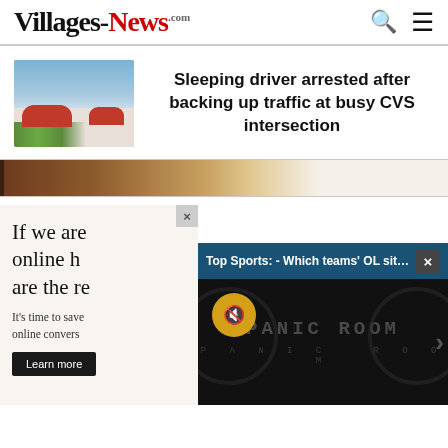Villages-News.com
[Figure (photo): Exterior photo of a CVS store building with red roof accents and trees in front]
Sleeping driver arrested after backing up traffic at busy CVS intersection
[Figure (photo): Partial image strip showing a curtained background]
[Figure (screenshot): Advertisement overlay: 'If we are online h... are the re...' with 'It's time to save online convers...' and Learn more button. Overlaid with Top Sports video notification bar reading 'Top Sports: - Which teams' OL situa...' and a video player showing 'PANIC ROOM' text with mute button]
If we are online h are the re
It's time to save online convers
Learn more
Top Sports: - Which teams' OL situa...
PANIC ROOM
P A N I C   R O O M